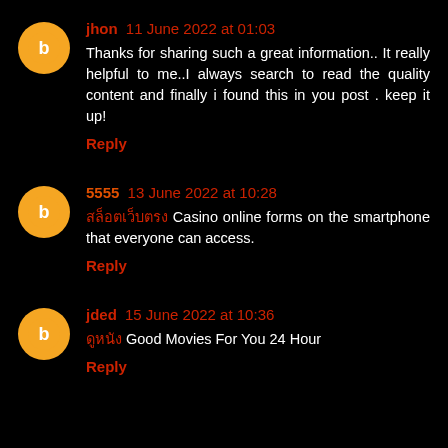jhon 11 June 2022 at 01:03
Thanks for sharing such a great information.. It really helpful to me..I always search to read the quality content and finally i found this in you post . keep it up!
Reply
5555 13 June 2022 at 10:28
สล็อตเว็บตรง Casino online forms on the smartphone that everyone can access.
Reply
jded 15 June 2022 at 10:36
ดูหนัง Good Movies For You 24 Hour
Reply